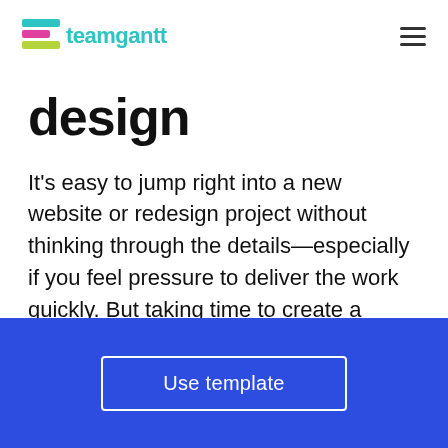teamgantt
design
It's easy to jump right into a new website or redesign project without thinking through the details—especially if you feel pressure to deliver the work quickly. But taking time to create a thoughtful web design plan can make all the difference between stress and
Use template